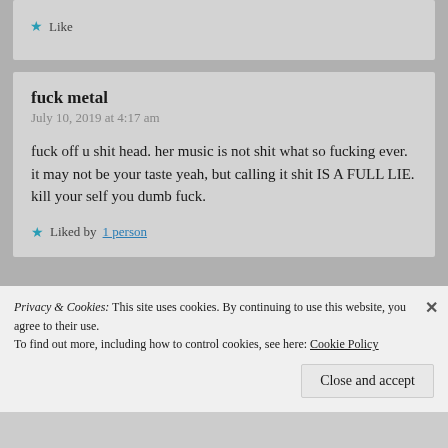Like
fuck metal
July 10, 2019 at 4:17 am
fuck off u shit head. her music is not shit what so fucking ever. it may not be your taste yeah, but calling it shit IS A FULL LIE. kill your self you dumb fuck.
Liked by 1 person
Privacy & Cookies: This site uses cookies. By continuing to use this website, you agree to their use.
To find out more, including how to control cookies, see here: Cookie Policy
Close and accept